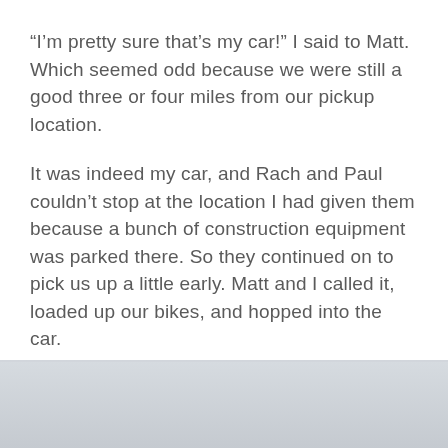“I’m pretty sure that’s my car!” I said to Matt. Which seemed odd because we were still a good three or four miles from our pickup location.
It was indeed my car, and Rach and Paul couldn’t stop at the location I had given them because a bunch of construction equipment was parked there. So they continued on to pick us up a little early. Matt and I called it, loaded up our bikes, and hopped into the car.
This turned out to be a blessing in disguise because there were at least four times more cows down the road. It was still slow going but they seemed a little more apt to move for a car than two guys on bikes.
[Figure (photo): Bottom portion of a photograph showing a light grey/overcast sky scene, partially visible at the bottom of the page.]